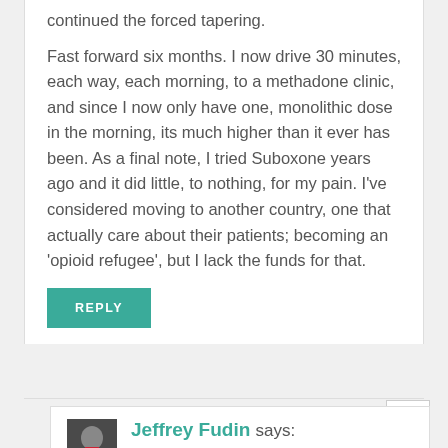continued the forced tapering.
Fast forward six months. I now drive 30 minutes, each way, each morning, to a methadone clinic, and since I now only have one, monolithic dose in the morning, its much higher than it ever has been. As a final note, I tried Suboxone years ago and it did little, to nothing, for my pain. I've considered moving to another country, one that actually care about their patients; becoming an 'opioid refugee', but I lack the funds for that.
REPLY
Jeffrey Fudin says:
February 13, 2018 at 5:09 PM